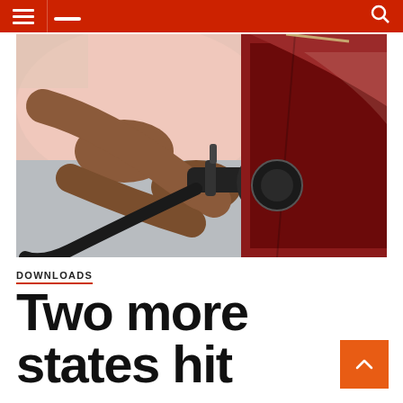Navigation bar with menu and search icons
[Figure (photo): Person pumping gas into a dark red car, holding a black fuel nozzle, wearing a pink shirt and grey pants]
DOWNLOADS
Two more states hit gas